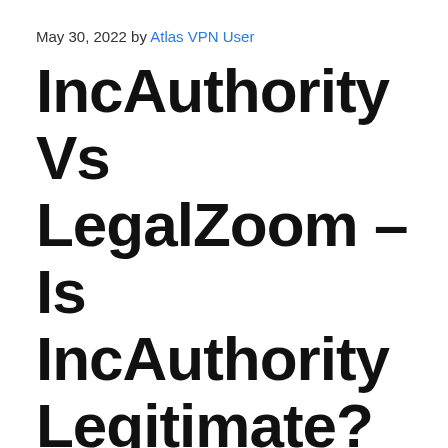May 30, 2022 by Atlas VPN User
IncAuthority Vs LegalZoom – Is IncAuthority Legitimate?
If you're wondering if IncAuthority is legitimate, read on. This review will compare IncAuthority to Legalzoom. The process of creating an LLC is more complicated than most people realize. Before you choose which service to use, it is important that you